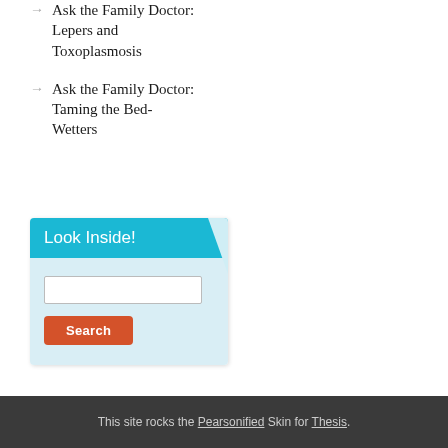Ask the Family Doctor: Lepers and Toxoplasmosis
Ask the Family Doctor: Taming the Bed-Wetters
[Figure (other): Look Inside! search widget with a text input field and an orange Search button on a light blue background with a teal header.]
This site rocks the Pearsonified Skin for Thesis.